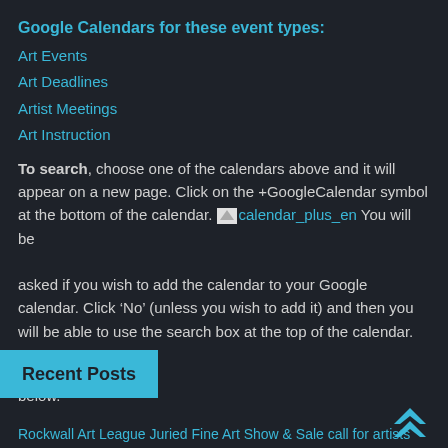Google Calendars for these event types:
Art Events
Art Deadlines
Artist Meetings
Art Instruction
To search, choose one of the calendars above and it will appear on a new page. Click on the +GoogleCalendar symbol at the bottom of the calendar. [calendar_plus_en image] You will be asked if you wish to add the calendar to your Google calendar. Click ‘No’ (unless you wish to add it) and then you will be able to use the search box at the top of the calendar.
To add an event to our calendars, use the Contact Form below.
Recent Posts
Rockwall Art League Juried Fine Art Show & Sale call for artists